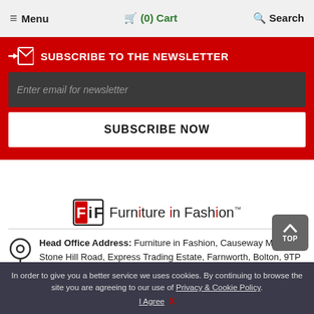≡ Menu   🛒 (0) Cart   🔍 Search
SUBSCRIBE TO THE NEWSLETTER
Enter email for newsletter
SUBSCRIBE NOW
[Figure (logo): FiF Furniture in Fashion logo with trademark symbol]
Head Office Address: Furniture in Fashion, Causeway Mill, Stone Hill Road, Express Trading Estate, Farnworth, Bolton, 9TP
In order to give you a better service we uses cookies. By continuing to browse the site you are agreeing to our use of Privacy & Cookie Policy. I Agree X